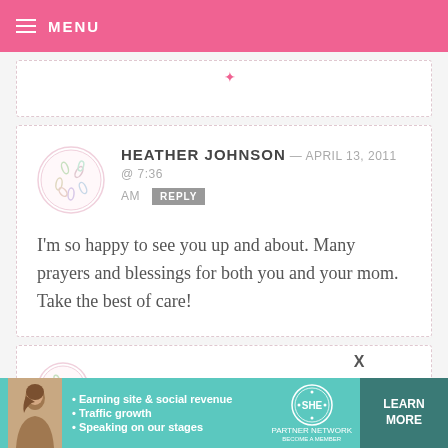MENU
HEATHER JOHNSON — APRIL 13, 2011 @ 7:36 AM  REPLY
I'm so happy to see you up and about. Many prayers and blessings for both you and your mom. Take the best of care!
RENNY — APRIL 13, 2011 @ 7:35 AM  REPLY
[Figure (infographic): SHE Partner Network advertisement banner with photo of woman, bullet points: Earning site & social revenue, Traffic growth, Speaking on our stages. Learn More button.]